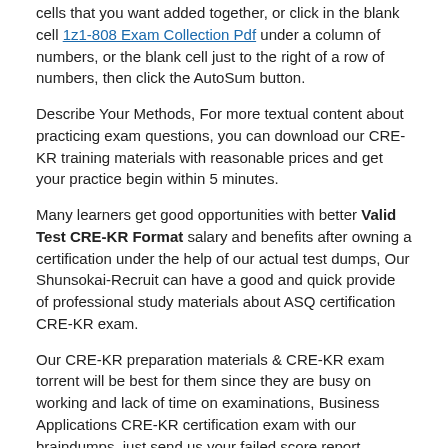cells that you want added together, or click in the blank cell 1z1-808 Exam Collection Pdf under a column of numbers, or the blank cell just to the right of a row of numbers, then click the AutoSum button.
Describe Your Methods, For more textual content about practicing exam questions, you can download our CRE-KR training materials with reasonable prices and get your practice begin within 5 minutes.
Many learners get good opportunities with better Valid Test CRE-KR Format salary and benefits after owning a certification under the help of our actual test dumps, Our Shunsokai-Recruit can have a good and quick provide of professional study materials about ASQ certification CRE-KR exam.
Our CRE-KR preparation materials & CRE-KR exam torrent will be best for them since they are busy on working and lack of time on examinations, Business Applications CRE-KR certification exam with our braindumps, just send us your failed score report.
Updated ASQ CRE-KR Valid Test Format | Try Free Demo